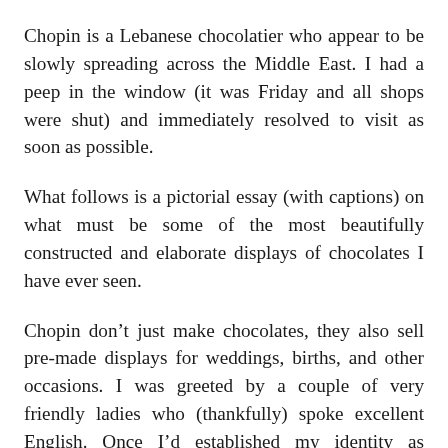Chopin is a Lebanese chocolatier who appear to be slowly spreading across the Middle East. I had a peep in the window (it was Friday and all shops were shut) and immediately resolved to visit as soon as possible.
What follows is a pictorial essay (with captions) on what must be some of the most beautifully constructed and elaborate displays of chocolates I have ever seen.
Chopin don’t just make chocolates, they also sell pre-made displays for weddings, births, and other occasions. I was greeted by a couple of very friendly ladies who (thankfully) spoke excellent English. Once I’d established my identity as International Man of Chocolate, we had a